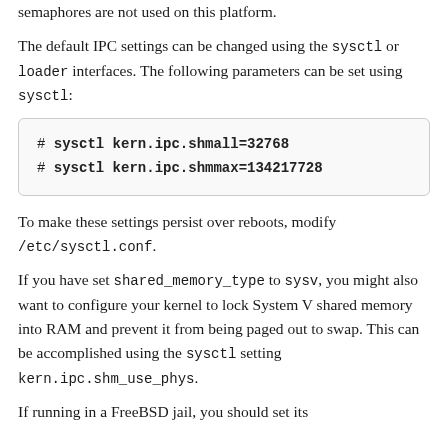semaphores are not used on this platform.
The default IPC settings can be changed using the sysctl or loader interfaces. The following parameters can be set using sysctl:
[Figure (other): Code block showing two sysctl commands: # sysctl kern.ipc.shmall=32768 and # sysctl kern.ipc.shmmax=134217728]
To make these settings persist over reboots, modify /etc/sysctl.conf.
If you have set shared_memory_type to sysv, you might also want to configure your kernel to lock System V shared memory into RAM and prevent it from being paged out to swap. This can be accomplished using the sysctl setting kern.ipc.shm_use_phys.
If running in a FreeBSD jail, you should set its